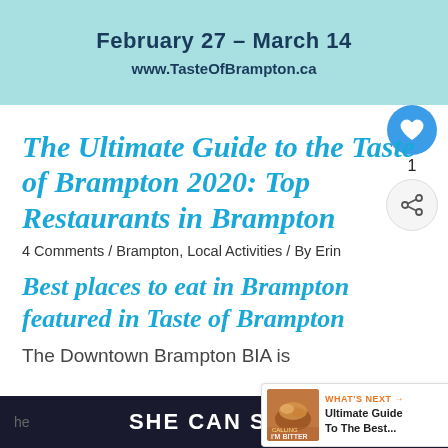[Figure (illustration): Light teal/aqua textured banner with date text 'February 27 – March 14' and URL 'www.TasteOfBrampton.ca' in dark navy bold text.]
The Ultimate Guide to the Taste of Brampton 2020: Top Restaurants in Brampton
4 Comments / Brampton, Local Activities / By Erin
Best places to eat in Brampton featured in Taste of Brampton
The Downtown Brampton BIA is
[Figure (screenshot): What's Next widget showing a thumbnail of food and text 'WHAT'S NEXT → Ultimate Guide To The Best...']
SHE CAN STEM